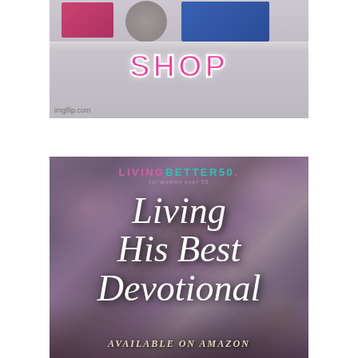[Figure (photo): Photo of a shelf or box display with colored items (pink, circular grey, blue) visible at the top, with the word SHOP overlaid in bold pink text with white outline, and imgflip.com watermark in bottom left corner.]
[Figure (photo): Advertisement image for 'Living His Best Devotional' by LivingBetter50. Purple and mauve floral/wood textured background with white italic script text reading 'Living His Best Devotional' and 'AVAILABLE ON AMAZON' at the bottom. LivingBetter50 logo at top in pink and teal.]